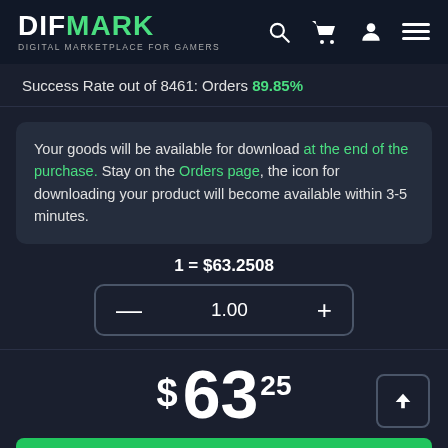DIFMARK — DIGITAL MARKETPLACE FOR GAMERS
Success Rate out of 8461: Orders 89.85%
Your goods will be available for download at the end of the purchase. Stay on the Orders page, the icon for downloading your product will become available within 3-5 minutes.
1 = $63.2508
— 1.00 +
$ 63 25